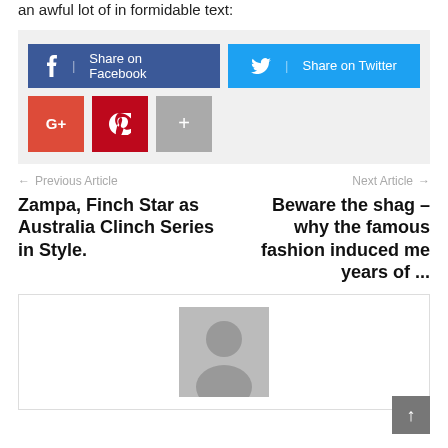an awful lot of in formidable text:
[Figure (infographic): Social share buttons: Facebook, Twitter, Google+, Pinterest, and a More (+) button]
← Previous Article
Zampa, Finch Star as Australia Clinch Series in Style.
Next Article →
Beware the shag – why the famous fashion induced me years of ...
[Figure (photo): Author avatar placeholder image (grey silhouette on grey background)]